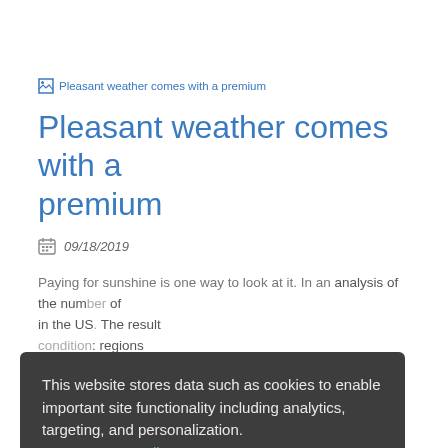[Figure (illustration): Broken image placeholder icon followed by alt text 'Pleasant weather comes with a premium']
Pleasant weather comes with a premium
09/18/2019
Paying for sunshine is one way to look at it. In an analysis of ... the number of ... in the US. The result ... condition: regions ... tend to be more expensive places...
This website stores data such as cookies to enable important site functionality including analytics, targeting, and personalization. Data Storage Policy
Accept  Deny
Read More